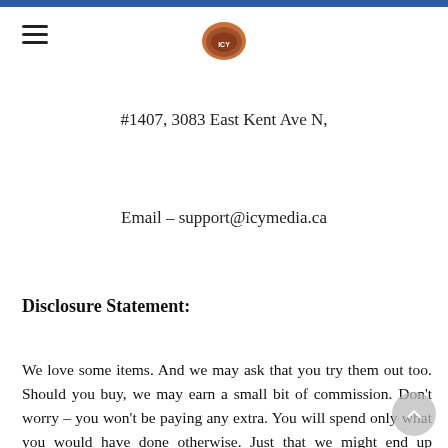≡  [logo]
#1407, 3083 East Kent Ave N,
Email – support@icymedia.ca
Disclosure Statement:
We love some items. And we may ask that you try them out too. Should you buy, we may earn a small bit of commission. Don't worry – you won't be paying any extra. You will spend only what you would have done otherwise. Just that we might end up earning a few dollars – that will help us keep the site